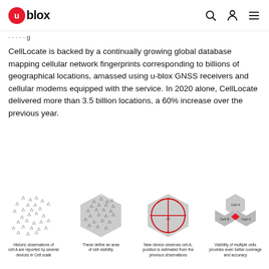u-blox
CellLocate is backed by a continually growing global database mapping cellular network fingerprints corresponding to billions of geographical locations, amassed using u-blox GNSS receivers and cellular modems equipped with the service. In 2020 alone, CellLocate delivered more than 3.5 billion locations, a 60% increase over the previous year.
[Figure (infographic): Four-panel infographic showing CellLocate cell positioning concept. Panel 1: scatter of triangle markers representing historic observations of cell A reported by several devices in Cell scale. Panel 2: hexagon shape with triangle markers inside representing area of cell visibility. Panel 3: hexagon with red crosshair circle overlay and central triangle marker, representing new device observes cell A position estimated from previous observations. Panel 4: three hexagons labeled Cell A, Cell B, Cell C with a red diamond shape, representing visibility of multiple cells provides even better coverage and accuracy.]
Historic observations of cell A are reported by several devices in Cell scale
These define an area of cell visibility
New device observes cell A, position is estimated from the previous observations
Visibility of multiple cells provides even better coverage and accuracy